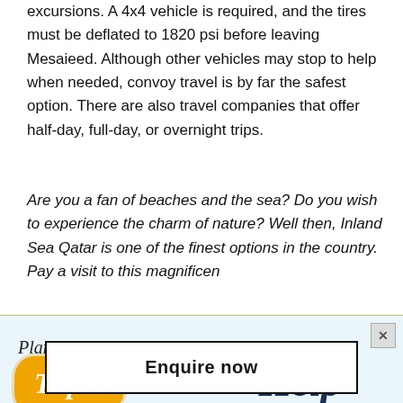excursions. A 4x4 vehicle is required, and the tires must be deflated to 1820 psi before leaving Mesaieed. Although other vehicles may stop to help when needed, convoy travel is by far the safest option. There are also travel companies that offer half-day, full-day, or overnight trips.
Are you a fan of beaches and the sea? Do you wish to experience the charm of nature? Well then, Inland Sea Qatar is one of the finest options in the country. Pay a visit to this magnificent place to be a part of the
[Figure (infographic): Ad banner with light blue background. Left side: cursive text 'Planning a' above an orange blob shape containing italic white text 'Trip?' Right side: 'We are here to' above large dark blue italic text 'Help'. Close button (x) in top right corner.]
Enquire now